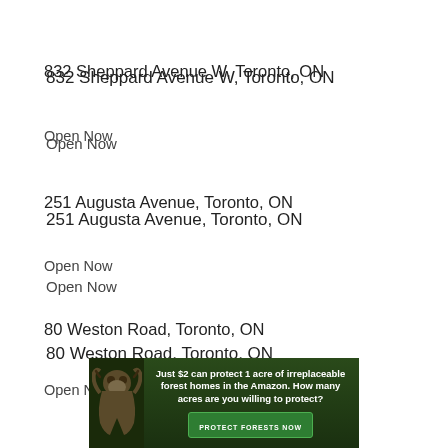832 Sheppard Avenue W, Toronto, ON
Open Now
251 Augusta Avenue, Toronto, ON
Open Now
80 Weston Road, Toronto, ON
Open Now
5130 Dixie Road, Mississauga, ON
[Figure (infographic): Advertisement banner: dark green forest background with sloth image on left. Text reads 'Just $2 can protect 1 acre of irreplaceable forest homes in the Amazon. How many acres are you willing to protect?' with a green 'PROTECT FORESTS NOW' button.]